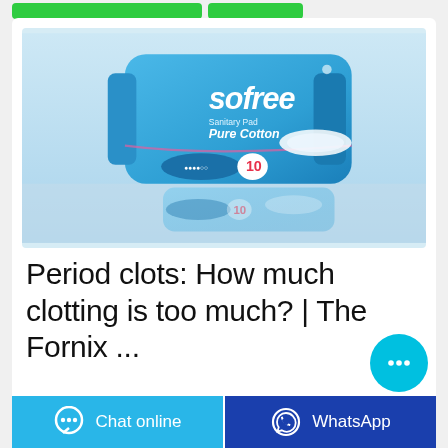[Figure (photo): Sofree Sanitary Pad Pure Cotton product package in blue packaging, showing 10 pads count. The package is photographed on a reflective surface showing the reflection below.]
Period clots: How much clotting is too much? | The Fornix ...
[Figure (other): Floating chat bubble button (cyan circle with ellipsis icon)]
Chat online | WhatsApp